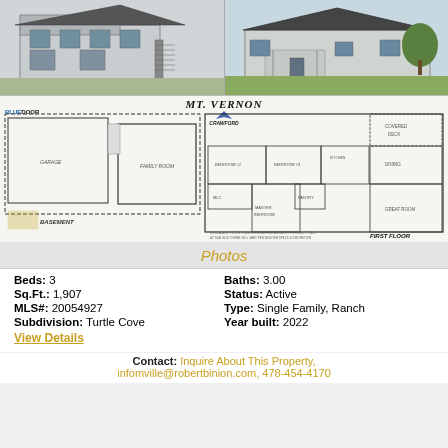[Figure (illustration): Two architectural renderings of the Mt. Vernon home (left: rear/side view showing basement and stairs; right: front elevation showing ranch-style facade with covered porch and landscaping), plus a floor plan showing basement level and first floor layout with garage, family room, bedrooms, master bedroom, great room, kitchen, pantry, and covered deck. Branded with Blue Door and Crawford logos.]
Photos
Beds: 3
Baths: 3.00
Sq.Ft.: 1,907
Status: Active
MLS#: 20054927
Type: Single Family, Ranch
Subdivision: Turtle Cove
Year built: 2022
View Details
Contact: Inquire About This Property, infomville@robertbinion.com, 478-454-4170